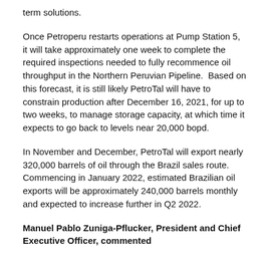term solutions.
Once Petroperu restarts operations at Pump Station 5, it will take approximately one week to complete the required inspections needed to fully recommence oil throughput in the Northern Peruvian Pipeline.  Based on this forecast, it is still likely PetroTal will have to constrain production after December 16, 2021, for up to two weeks, to manage storage capacity, at which time it expects to go back to levels near 20,000 bopd.
In November and December, PetroTal will export nearly 320,000 barrels of oil through the Brazil sales route. Commencing in January 2022, estimated Brazilian oil exports will be approximately 240,000 barrels monthly and expected to increase further in Q2 2022.
Manuel Pablo Zuniga-Pflucker, President and Chief Executive Officer, commented